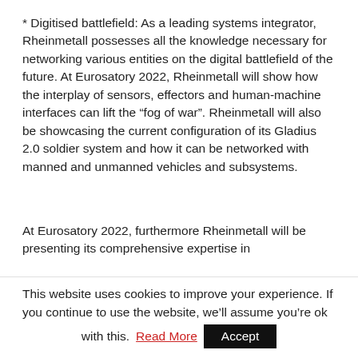* Digitised battlefield: As a leading systems integrator, Rheinmetall possesses all the knowledge necessary for networking various entities on the digital battlefield of the future. At Eurosatory 2022, Rheinmetall will show how the interplay of sensors, effectors and human-machine interfaces can lift the “fog of war”. Rheinmetall will also be showcasing the current configuration of its Gladius 2.0 soldier system and how it can be networked with manned and unmanned vehicles and subsystems.
At Eurosatory 2022, furthermore Rheinmetall will be presenting its comprehensive expertise in
This website uses cookies to improve your experience. If you continue to use the website, we’ll assume you’re ok with this.  Read More  Accept